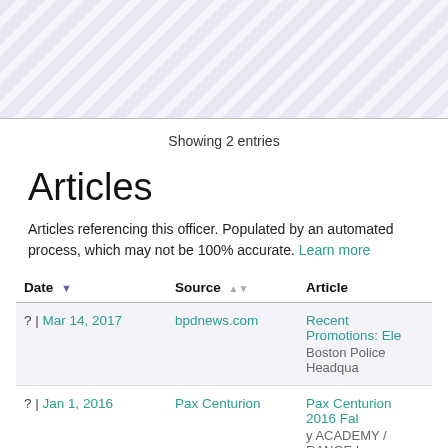[Figure (other): Diagonal stripe pattern background area (decorative, blue-grey hatching)]
Showing 2 entries
Articles
Articles referencing this officer. Populated by an automated process, which may not be 100% accurate. Learn more
| Date | Source | Article |
| --- | --- | --- |
| ? | Mar 14, 2017 | bpdnews.com | Recent Promotions: Ele
Boston Police Headqua |
| ? | Jan 1, 2016 | Pax Centurion | Pax Centurion 2016 Fal
y ACADEMY / RANGE I |